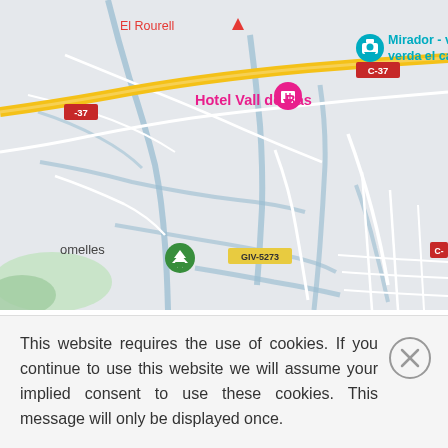[Figure (map): Google Maps screenshot showing a region in Catalonia, Spain. Features roads C-37, C-152, C-153, C-63z, GIV-5273, and partial labels -37 and C- on edges. Labels include 'El Rourell' (top left), 'Hotel Vall de Bas' (pink, with hotel pin), 'Mirador - via verda el carrilet' (teal, with camera pin), 'BAS' (right), 'Sant E... d'en I...' (bottom right, partially cropped), 'omelles' (bottom left with green tree pin). Road C-37 shown as yellow highway. Blue river/water features visible.]
This website requires the use of cookies. If you continue to use this website we will assume your implied consent to use these cookies. This message will only be displayed once.